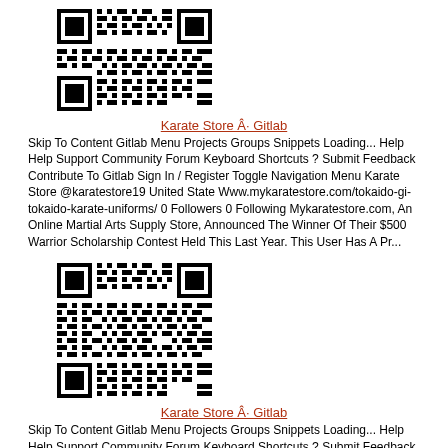[Figure (other): QR code image (top)]
Karate Store Â· Gitlab
Skip To Content Gitlab Menu Projects Groups Snippets Loading... Help Help Support Community Forum Keyboard Shortcuts ? Submit Feedback Contribute To Gitlab Sign In / Register Toggle Navigation Menu Karate Store @karatestore19 United State Www.mykaratestore.com/tokaido-gi-tokaido-karate-uniforms/ 0 Followers 0 Following Mykaratestore.com, An Online Martial Arts Supply Store, Announced The Winner Of Their $500 Warrior Scholarship Contest Held This Last Year. This User Has A Pr...
[Figure (other): QR code image (bottom)]
Karate Store Â· Gitlab
Skip To Content Gitlab Menu Projects Groups Snippets Loading... Help Help Support Community Forum Keyboard Shortcuts ? Submit Feedback Contribute To Gitlab Sign In / Register Toggle Navigation Menu Karate Store @karatestore19 United State Www.mykaratestore.com/tokaido-gi-tokaido-karate-uniforms/ 0 Followers 0 Following Mykaratestore.com, An Online Martial Arts Supply Store, Announced The Winner Of Their $500 Warrior Scholarship Contest Held This Last Year. This User Has A Pr...